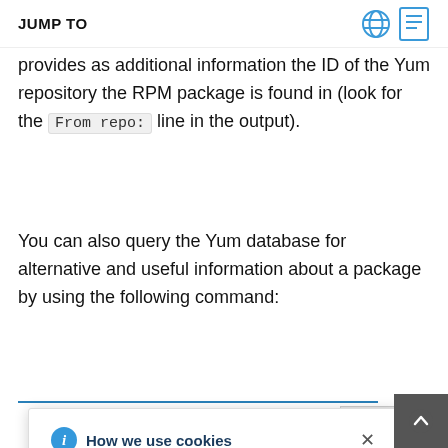JUMP TO
provides as additional information the ID of the Yum repository the RPM package is found in (look for the From repo: line in the output).
You can also query the Yum database for alternative and useful information about a package by using the following command:
How we use cookies — We use cookies on our websites to deliver our online services. Details about how we use cookies and how you may disable them are set out in our Privacy Statement. By using this website you agree to our use of cookies.
mation m of the package (and algorithm used to produce it, such
SHA-256), the...